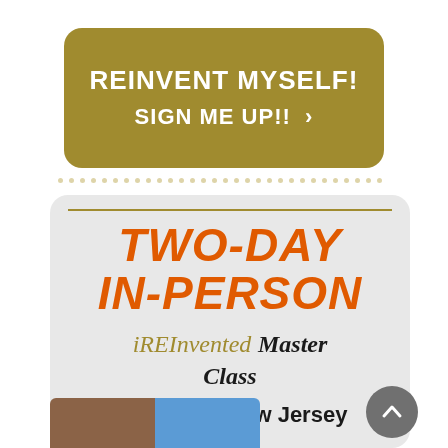REINVENT MYSELF!
SIGN ME UP!! >
TWO-DAY IN-PERSON
iREInvented Master Class
Princeton, New Jersey
[Figure (photo): Partial image strip showing a building and blue sky at the bottom of the card]